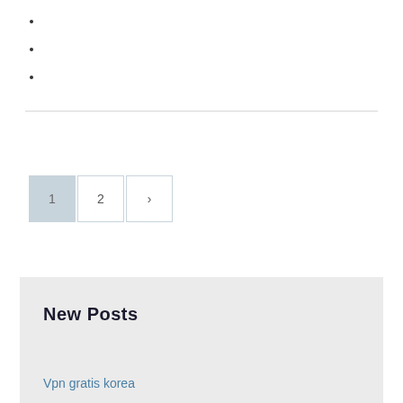1  2  >
New Posts
Vpn gratis korea